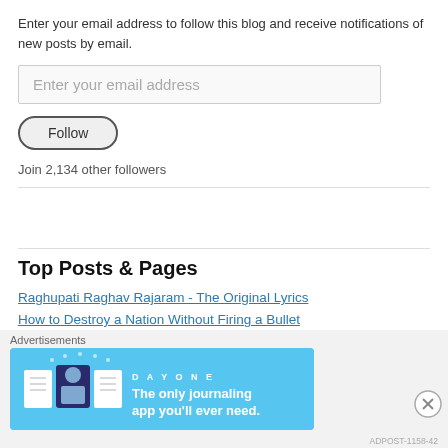Enter your email address to follow this blog and receive notifications of new posts by email.
Enter your email address
Follow
Join 2,134 other followers
Top Posts & Pages
Raghupati Raghav Rajaram - The Original Lyrics
How to Destroy a Nation Without Firing a Bullet
Advertisements
[Figure (infographic): Day One journaling app advertisement banner on blue background with text 'The only journaling app you'll ever need.']